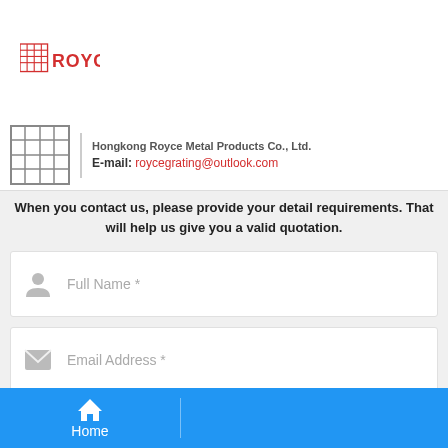[Figure (logo): Royce logo with red grid icon and red ROYCE text]
Hongkong Royce Metal Products Co., Ltd.
E-mail: roycegrating@outlook.com
When you contact us, please provide your detail requirements. That will help us give you a valid quotation.
Full Name *
Email Address *
Country Code * + Phone Number *
Message *
Home